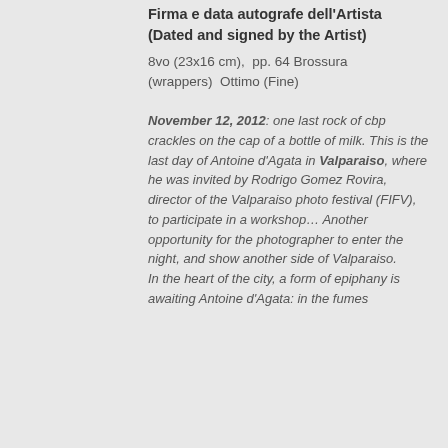Firma e data autografe dell'Artista (Dated and signed by the Artist)
8vo (23x16 cm),  pp. 64 Brossura (wrappers)  Ottimo (Fine)
November 12, 2012: one last rock of cbp crackles on the cap of a bottle of milk. This is the last day of Antoine d'Agata in Valparaiso, where he was invited by Rodrigo Gomez Rovira, director of the Valparaiso photo festival (FIFV), to participate in a workshop… Another opportunity for the photographer to enter the night, and show another side of Valparaiso.
In the heart of the city, a form of epiphany is awaiting Antoine d'Agata: in the fumes